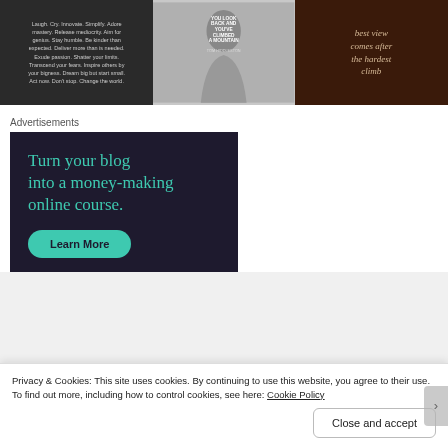[Figure (photo): Three motivational image panels at top: (1) dark background with motivational text, (2) grayscale photo of a woman with text overlay about climbing a mountain by Tom Hiddleston, (3) dark reddish image with text 'best view comes after the hardest climb']
Advertisements
[Figure (infographic): Dark navy advertisement box with teal headline 'Turn your blog into a money-making online course.' and a teal pill-shaped 'Learn More' button]
Privacy & Cookies: This site uses cookies. By continuing to use this website, you agree to their use.
To find out more, including how to control cookies, see here: Cookie Policy
Close and accept